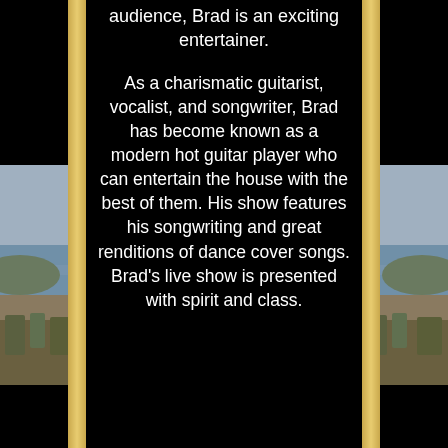audience, Brad is an exciting entertainer.
As a charismatic guitarist, vocalist, and songwriter, Brad has become known as a modern hot guitar player who can entertain the house with the best of them. His show features his songwriting and great renditions of dance cover songs. Brad's live show is presented with spirit and class.
[Figure (photo): Side coastal landscape photo strips on left and right sides of the page, showing water, shoreline, and vegetation. A portrait photo of a person (Brad) is partially visible at the bottom center of the page.]